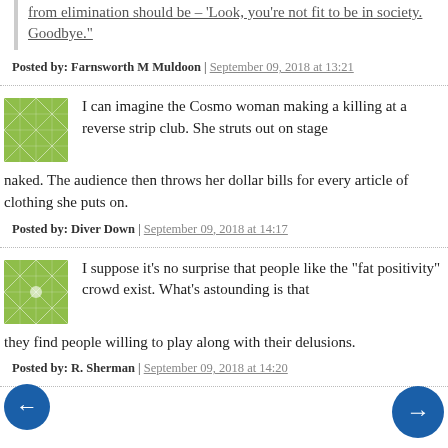from elimination should be – 'Look, you're not fit to be in society. Goodbye.'
Posted by: Farnsworth M Muldoon | September 09, 2018 at 13:21
[Figure (illustration): Green avatar/user icon square]
I can imagine the Cosmo woman making a killing at a reverse strip club. She struts out on stage naked. The audience then throws her dollar bills for every article of clothing she puts on.
Posted by: Diver Down | September 09, 2018 at 14:17
[Figure (illustration): Green avatar/user icon square]
I suppose it's no surprise that people like the "fat positivity" crowd exist. What's astounding is that they find people willing to play along with their delusions.
Posted by: R. Sherman | September 09, 2018 at 14:20